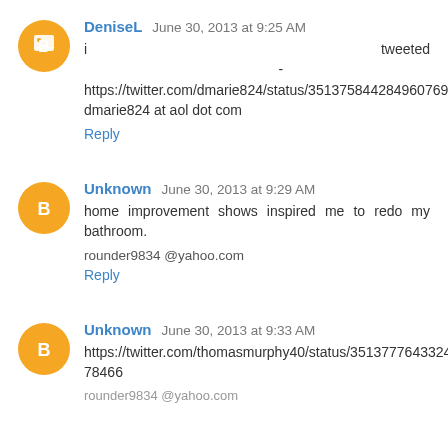DeniseL June 30, 2013 at 9:25 AM
i tweeted - https://twitter.com/dmarie824/status/351375844284960769
dmarie824 at aol dot com
Reply
Unknown June 30, 2013 at 9:29 AM
home improvement shows inspired me to redo my bathroom.
rounder9834 @yahoo.com
Reply
Unknown June 30, 2013 at 9:33 AM
https://twitter.com/thomasmurphy40/status/351377764332478466
rounder9834 @yahoo.com